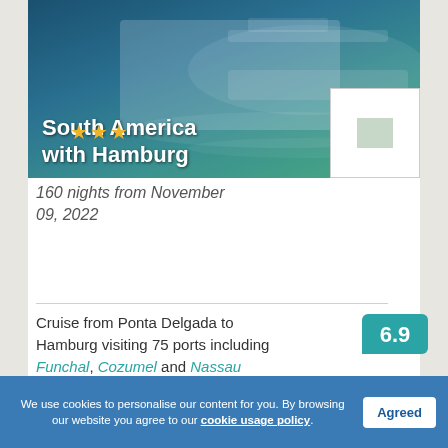[Figure (photo): Cruise ship on water with 'South America with Hamburg' text overlay and three gold stars]
South America with Hamburg
160 nights from November 09, 2022
Cruise from Ponta Delgada to Hamburg visiting 75 ports including Funchal, Cozumel and Nassau
6.9 Pleasant 23 Reviews
Onboard Credit and price reduction
Fly-cruise in inside cabin per person
€21759 ›
We use cookies to personalise our content for you. By browsing our website you agree to our cookie usage policy.